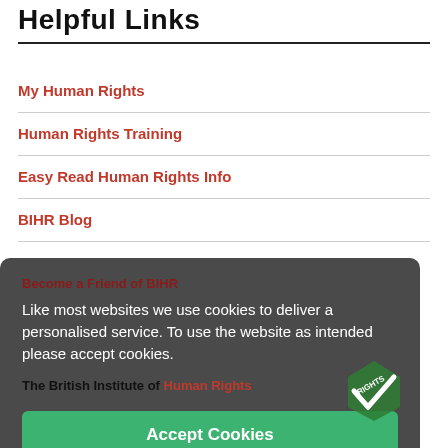Helpful Links
My Human Rights
Human Rights Training
Easy Read Human Rights Info
BIHR Blog
Become a Friend of BIHR
Like most websites we use cookies to deliver a personalised service. To use the website as intended please accept cookies.
The British Institute of Human Rights
Accept Cookies